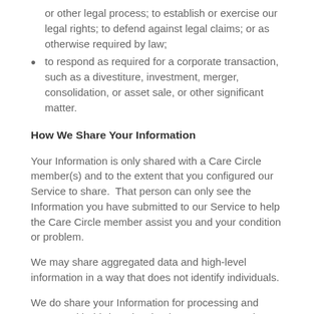or other legal process; to establish or exercise our legal rights; to defend against legal claims; or as otherwise required by law;
to respond as required for a corporate transaction, such as a divestiture, investment, merger, consolidation, or asset sale, or other significant matter.
How We Share Your Information
Your Information is only shared with a Care Circle member(s) and to the extent that you configured our Service to share.  That person can only see the Information you have submitted to our Service to help the Care Circle member assist you and your condition or problem.
We may share aggregated data and high-level information in a way that does not identify individuals.
We do share your Information for processing and storage with third parties that have agreements in place with us to protect the confidentiality and security of information that